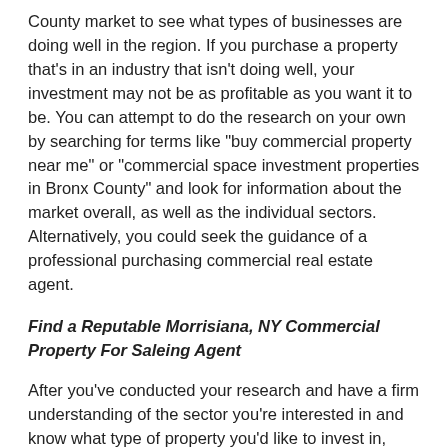County market to see what types of businesses are doing well in the region. If you purchase a property that's in an industry that isn't doing well, your investment may not be as profitable as you want it to be. You can attempt to do the research on your own by searching for terms like "buy commercial property near me" or "commercial space investment properties in Bronx County" and look for information about the market overall, as well as the individual sectors. Alternatively, you could seek the guidance of a professional purchasing commercial real estate agent.
Find a Reputable Morrisiana, NY Commercial Property For Saleing Agent
After you've conducted your research and have a firm understanding of the sector you're interested in and know what type of property you'd like to invest in, you'll want to get in touch with a